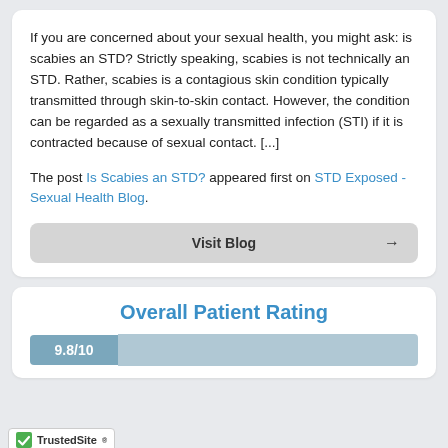If you are concerned about your sexual health, you might ask: is scabies an STD? Strictly speaking, scabies is not technically an STD. Rather, scabies is a contagious skin condition typically transmitted through skin-to-skin contact. However, the condition can be regarded as a sexually transmitted infection (STI) if it is contracted because of sexual contact. [...]
The post Is Scabies an STD? appeared first on STD Exposed - Sexual Health Blog.
Visit Blog
Overall Patient Rating
9.8/10